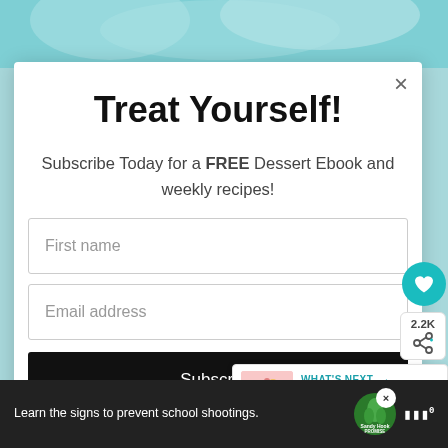[Figure (photo): Background food/dessert photo partially visible at top of page]
Treat Yourself!
Subscribe Today for a FREE Dessert Ebook and weekly recipes!
First name
Email address
Subscribe
2.2K
WHAT'S NEXT → American Buttercream...
Learn the signs to prevent school shootings.